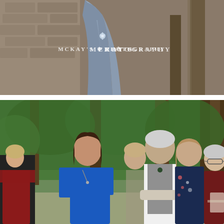[Figure (photo): Close-up of a bridesmaid in a grey/slate blue gown standing outdoors near tree trunks with a stone wall background. A watermark reads 'MCKAY'S PHOTOGRAPHY' with a snowflake icon in the center of the image.]
[Figure (photo): Outdoor wedding ceremony photo showing several guests/family members standing and watching the ceremony. A woman in a royal blue dress, a man in a grey vest and white shirt, a woman in a floral dress, an elderly woman in burgundy, and a young woman in a red off-shoulder dress are visible. Background shows tall trees and green foliage.]